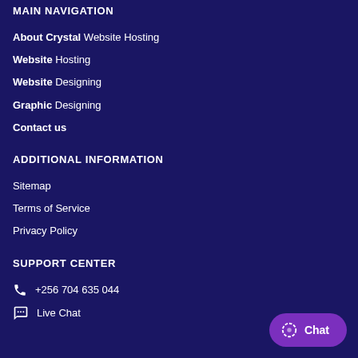MAIN NAVIGATION
About Crystal Website Hosting
Website Hosting
Website Designing
Graphic Designing
Contact us
ADDITIONAL INFORMATION
Sitemap
Terms of Service
Privacy Policy
SUPPORT CENTER
+256 704 635 044
Live Chat